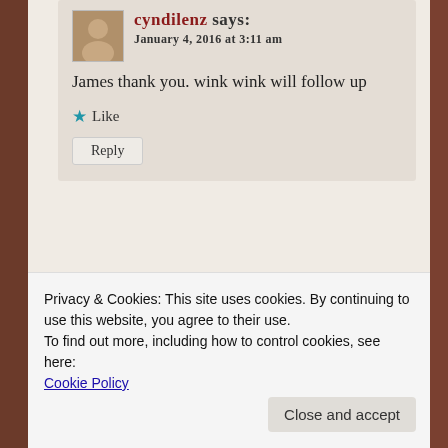cyndilenz says:
January 4, 2016 at 3:11 am
James thank you. wink wink will follow up
★ Like
Reply
Wendy says:
January 5, 2016 at 12:54 am
James I was going to say the same thing! Didn't they have to
Privacy & Cookies: This site uses cookies. By continuing to use this website, you agree to their use.
To find out more, including how to control cookies, see here:
Cookie Policy
Close and accept